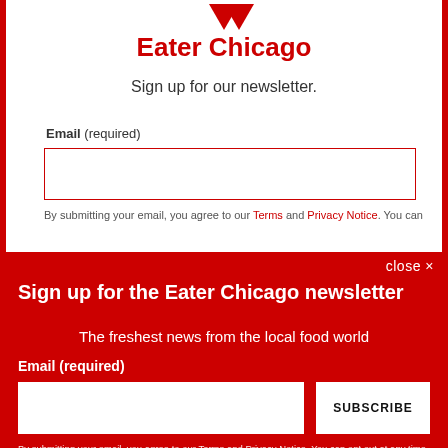[Figure (logo): Eater Chicago logo — partial red chevron/arrow icon at top center]
Eater Chicago
Sign up for our newsletter.
Email (required)
By submitting your email, you agree to our Terms and Privacy Notice. You can
close ×
Sign up for the Eater Chicago newsletter
The freshest news from the local food world
Email (required)
SUBSCRIBE
By submitting your email, you agree to our Terms and Privacy Notice. You can opt out at any time. This site is protected by reCAPTCHA and the Google Privacy Policy and Terms of Service apply.